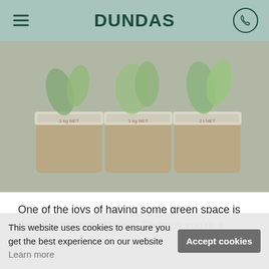DUNDAS
[Figure (photo): Three plastic plant pots with green plants (herbs and leafy plants) growing in them, labeled with kg NET weights, arranged side by side against a blurred background]
One of the joys of having some green space is that you can get planting. Perhaps you're a
This website uses cookies to ensure you get the best experience on our website Learn more Accept cookies